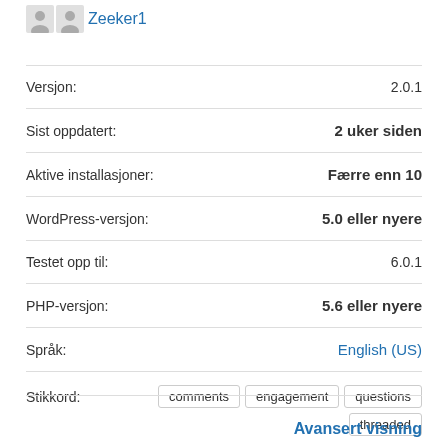Zeeker1
| Label | Value |
| --- | --- |
| Versjon: | 2.0.1 |
| Sist oppdatert: | 2 uker siden |
| Aktive installasjoner: | Færre enn 10 |
| WordPress-versjon: | 5.0 eller nyere |
| Testet opp til: | 6.0.1 |
| PHP-versjon: | 5.6 eller nyere |
| Språk: | English (US) |
| Stikkord: | comments  engagement  questions  threaded |
Avansert visning